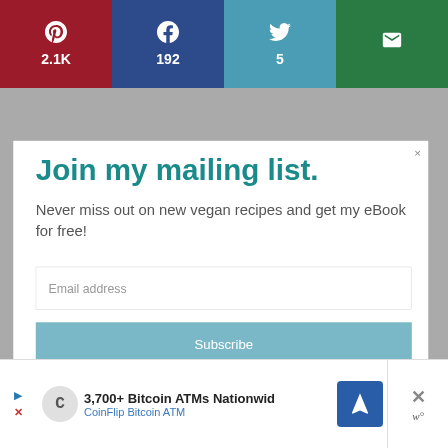[Figure (infographic): Social share bar with 4 buttons: Pinterest (2.1K, dark red), Facebook (192, dark blue), Twitter (5, teal), Email (green)]
Join my mailing list.
Never miss out on new vegan recipes and get my eBook for free!
Email address
Subscribe
[Figure (infographic): Bottom advertisement bar: CoinFlip Bitcoin ATM — 3,700+ Bitcoin ATMs Nationwid]